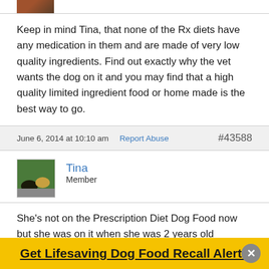[Figure (photo): Partial thumbnail of a user avatar at the top]
Keep in mind Tina, that none of the Rx diets have any medication in them and are made of very low quality ingredients. Find out exactly why the vet wants the dog on it and you may find that a high quality limited ingredient food or home made is the best way to go.
June 6, 2014 at 10:10 am   Report Abuse   #43588
[Figure (photo): User avatar for Tina showing two dogs outdoors]
Tina
Member
She's not on the Prescription Diet Dog Food now but she was on it when she was 2 years old because she had blood in her poop and digestion upsets. Her tummy makes lots
Get Lifesaving Dog Food Recall Alerts